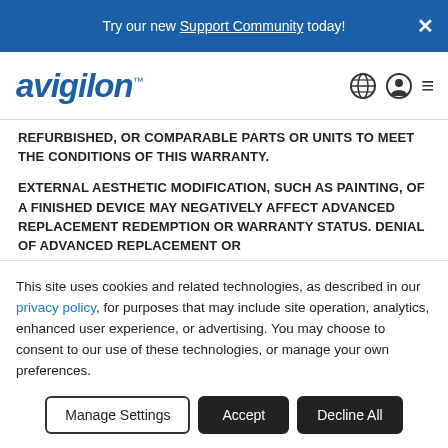Try our new Support Community today!
[Figure (logo): Avigilon logo with globe, user, and hamburger menu icons]
REFURBISHED, OR COMPARABLE PARTS OR UNITS TO MEET THE CONDITIONS OF THIS WARRANTY.
EXTERNAL AESTHETIC MODIFICATION, SUCH AS PAINTING, OF A FINISHED DEVICE MAY NEGATIVELY AFFECT ADVANCED REPLACEMENT REDEMPTION OR WARRANTY STATUS. DENIAL OF ADVANCED REPLACEMENT OR ADDITIONAL COSTS MAY BE INCURRED IF DEVICE FAILURE
This site uses cookies and related technologies, as described in our privacy policy, for purposes that may include site operation, analytics, enhanced user experience, or advertising. You may choose to consent to our use of these technologies, or manage your own preferences.